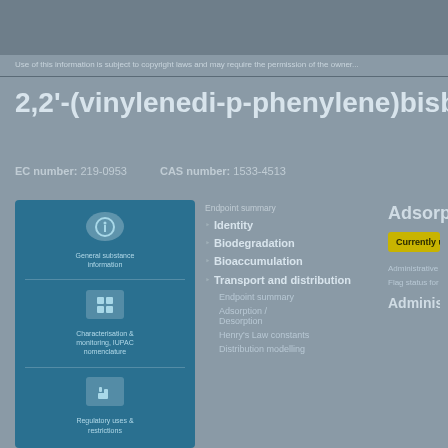Use of this information is subject to copyright laws and may require the permission of...
2,2'-(vinylenedi-p-phenylene)bisbenzoxaz...
EC number: 219-0953   CAS number: 1533-4513
[Figure (infographic): Teal left panel with icons for substance information, characterisation & monitoring, IUPAC nomenclature, and regulatory uses & restrictions]
Endpoint summary
Identity
Biodegradation
Bioaccumulation
Transport and distribution
Endpoint summary
Adsorption / Desorption
Henry's Law constants
Distribution modelling
Adsorption
Currently unavailable
Administrative d...
Flag status for this...
Administrati...